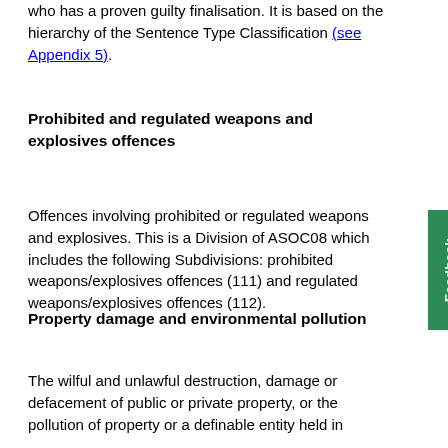who has a proven guilty finalisation. It is based on the hierarchy of the Sentence Type Classification (see Appendix 5).
Prohibited and regulated weapons and explosives offences
Offences involving prohibited or regulated weapons and explosives. This is a Division of ASOC08 which includes the following Subdivisions: prohibited weapons/explosives offences (111) and regulated weapons/explosives offences (112).
Property damage and environmental pollution
The wilful and unlawful destruction, damage or defacement of public or private property, or the pollution of property or a definable entity held in